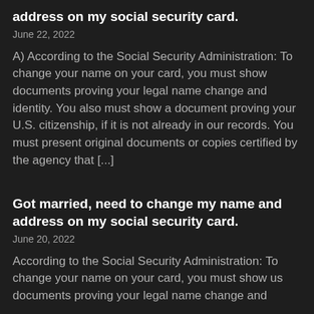address on my social security card.
June 22, 2022
A) According to the Social Security Administration: To change your name on your card, you must show documents proving your legal name change and identity. You also must show a document proving your U.S. citizenship, if it is not already in our records. You must present original documents or copies certified by the agency that [...]
Got married, need to change my name and address on my social security card.
June 20, 2022
According to the Social Security Administration: To change your name on your card, you must show us documents proving your legal name change and